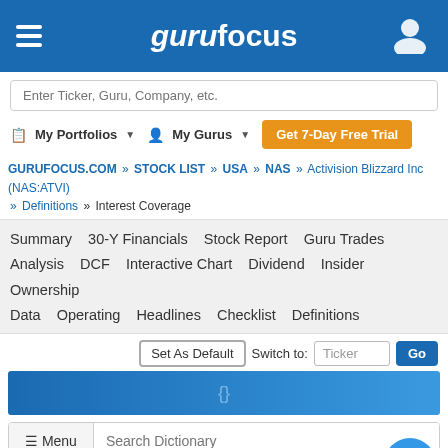gurufocus
Enter Ticker, Guru, Company, etc.
My Portfolios ▼   My Gurus ▼   Get 7-Day Free Trial
GURUFOCUS.COM » STOCK LIST » USA » NAS » Activision Blizzard Inc (NAS:ATVI) » Definitions » Interest Coverage
Summary   30-Y Financials   Stock Report   Guru Trades   Analysis   DCF   Interactive Chart   Dividend   Insider   Ownership   Data   Operating   Headlines   Checklist   Definitions
Set As Default   Switch to: Ticker   Go
≡ Menu   Search Dictionary
Activision Blizzard Interest Coverage : 12.41 (As of Jun. 2022)